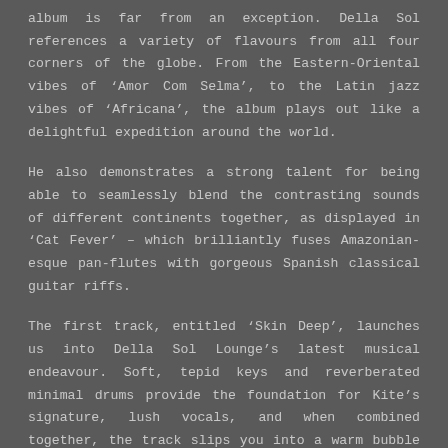album is far from an exception. Della Sol references a variety of flavours from all four corners of the globe. From the Eastern-Oriental vibes of ‘Amor Com Selma’, to the Latin jazz vibes of ‘Africana’, the album plays out like a delightful expedition around the world.
He also demonstrates a strong talent for being able to seamlessly blend the contrasting sounds of different continents together, as displayed in ‘Cat Fever’ – which brilliantly fuses Amazonian-esque pan-flutes with gorgeous Spanish classical guitar riffs.
The first track, entitled ‘Skin Deep’, launches us into Della Sol Lounge’s latest musical endeavour. Soft, tepid keys and reverberated minimal drums provide the foundation for Kite’s signature, lush vocals, and when combined together, the track slips you into a warm bubble bath of bliss.